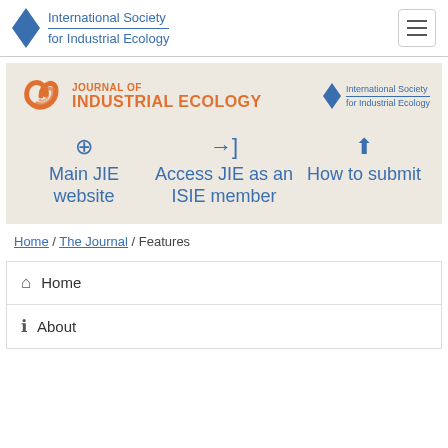International Society for Industrial Ecology
[Figure (logo): Journal of Industrial Ecology logo with orange swirl and ISIE triangles logo on beige background with three navigation links: Main JIE website, Access JIE as an ISIE member, How to submit]
Home / The Journal / Features
Home
About